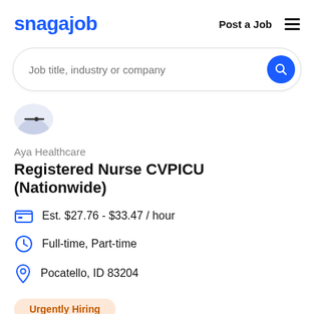snagajob   Post a Job
[Figure (screenshot): Search bar with placeholder text 'Job title, industry or company' and a blue circular search button]
[Figure (logo): Aya Healthcare company icon - partial circle with lines]
Aya Healthcare
Registered Nurse CVPICU (Nationwide)
Est. $27.76 - $33.47 / hour
Full-time, Part-time
Pocatello, ID 83204
Urgently Hiring